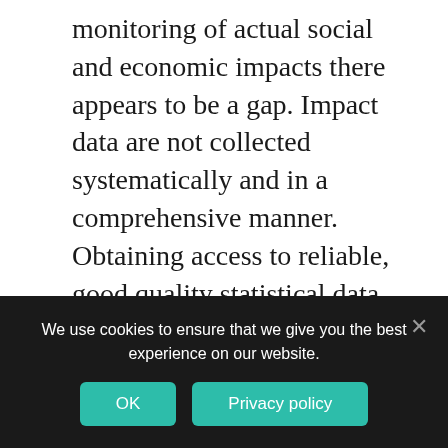monitoring of actual social and economic impacts there appears to be a gap. Impact data are not collected systematically and in a comprehensive manner. Obtaining access to reliable, good quality statistical data for the poorest countries is a challenge; it is even more difficult to monitor economic data in real time or at high frequency and with a short time lag.
ODI has monitored a range of macroeconomic crises (e.g. the global financial crisis, the Eurozone crisis and crises related to oil prices
We use cookies to ensure that we give you the best experience on our website.